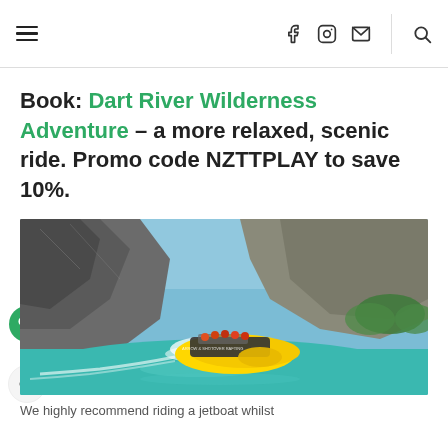Navigation bar with hamburger menu, social icons (Facebook, Instagram, email), and search icon
Book: Dart River Wilderness Adventure – a more relaxed, scenic ride. Promo code NZTTPLAY to save 10%.
[Figure (photo): A yellow jet boat speeding through a narrow rocky river gorge with turquoise water and steep cliffs, under a blue sky.]
We highly recommend riding a jetboat whilst